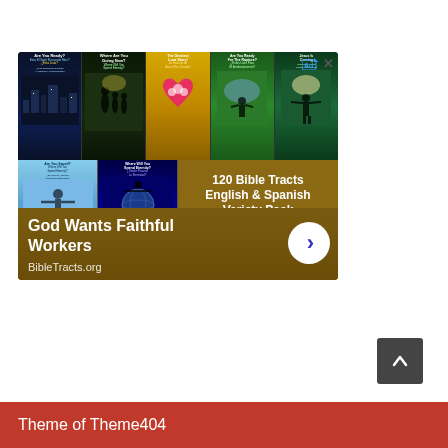[Figure (screenshot): Advertisement for BibleTracts.org showing multiple Bible tract book covers (Are You Ready?, Where Are You Going Now?, The Greatest Love Story, Are You Ready For The Rapture?, Jesus Is Coming) in English and Spanish. Bottom half shows '120 Bible Tracts English & Spanish Variety Pack ONLY $40!!!' text with two more book covers. Tagline reads 'God Wants Faithful Workers' with a circular arrow button and BibleTracts.org URL.]
God Wants Faithful Workers
BibleTracts.org
[Figure (other): Dark gray scroll-to-top button with upward chevron arrow]
Theme of Theme404